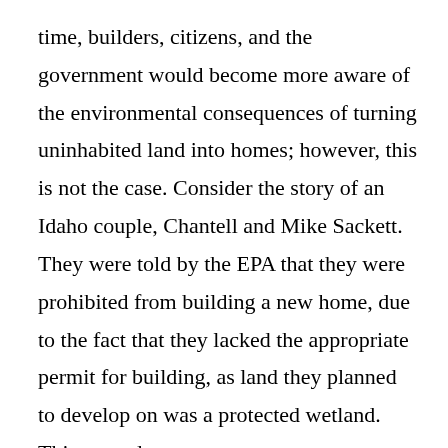time, builders, citizens, and the government would become more aware of the environmental consequences of turning uninhabited land into homes; however, this is not the case. Consider the story of an Idaho couple, Chantell and Mike Sackett. They were told by the EPA that they were prohibited from building a new home, due to the fact that they lacked the appropriate permit for building, as land they planned to develop on was a protected wetland. This caused an uproar amongst two Supreme Court Justices, Antonin Scalia and Samuel Alito, who claimed that the EPA was “high-handed” in dealing with private property, and that “this kind of thing